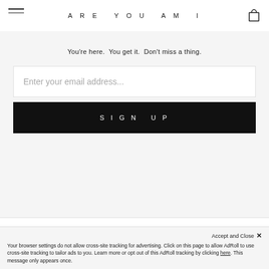ARE YOU AM I
You're here.  You get it.  Don't miss a thing.
Enter your email address...
SIGN UP
CUSTOMER SERVICE
SHOP
Accept and Close ✕
Your browser settings do not allow cross-site tracking for advertising. Click on this page to allow AdRoll to use cross-site tracking to tailor ads to you. Learn more or opt out of this AdRoll tracking by clicking here. This message only appears once.